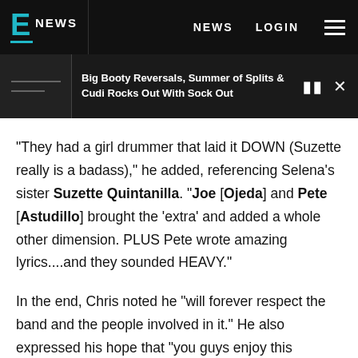E! NEWS  NEWS  LOGIN
Big Booty Reversals, Summer of Splits & Cudi Rocks Out With Sock Out
"They had a girl drummer that laid it DOWN (Suzette really is a badass)," he added, referencing Selena's sister Suzette Quintanilla. "Joe [Ojeda] and Pete [Astudillo] brought the 'extra' and added a whole other dimension. PLUS Pete wrote amazing lyrics....and they sounded HEAVY."
In the end, Chris noted he "will forever respect the band and the people involved in it." He also expressed his hope that "you guys enjoy this series."